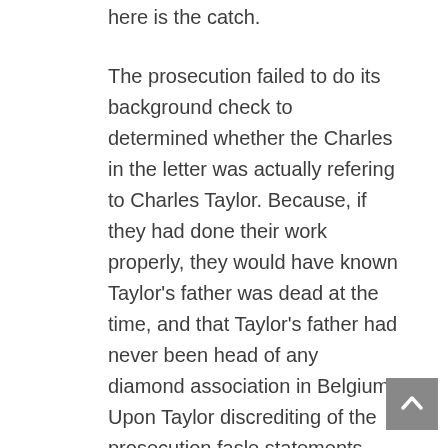here is the catch.
The prosecution failed to do its background check to determined whether the Charles in the letter was actually refering to Charles Taylor. Because, if they had done their work properly, they would have known Taylor's father was dead at the time, and that Taylor's father had never been head of any diamond association in Belgium. Upon Taylor discrediting of the prosecution fasle statements and misrepresentation of the Michel's letter. Today, in open court, Ms. Hollis said that the prosecution was not using that letter to refer to Charles Taylor and that they did not referred to the